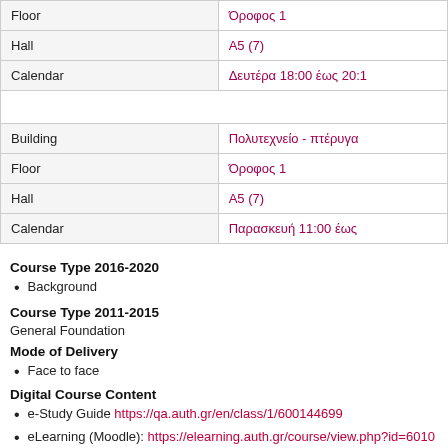| Floor | Όροφος 1 |
| Hall | A5 (7) |
| Calendar | Δευτέρα 18:00 έως 20:1 |
|  |  |
| Building | Πολυτεχνείο - πτέρυγα |
| Floor | Όροφος 1 |
| Hall | A5 (7) |
| Calendar | Παρασκευή 11:00 έως |
Course Type 2016-2020
Background
Course Type 2011-2015
General Foundation
Mode of Delivery
Face to face
Digital Course Content
e-Study Guide https://qa.auth.gr/en/class/1/600144699
eLearning (Moodle): https://elearning.auth.gr/course/view.php?id=6010